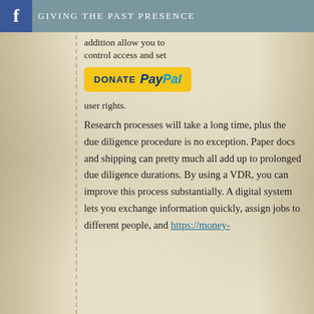GIVING THE PAST PRESENCE
addition allow you to control access and set user rights.
[Figure (other): PayPal Donate button - yellow rounded rectangle with DONATE PayPal text]
Research processes will take a long time, plus the due diligence procedure is no exception. Paper docs and shipping can pretty much all add up to prolonged due diligence durations. By using a VDR, you can improve this process substantially. A digital system lets you exchange information quickly, assign jobs to different people, and https://money-